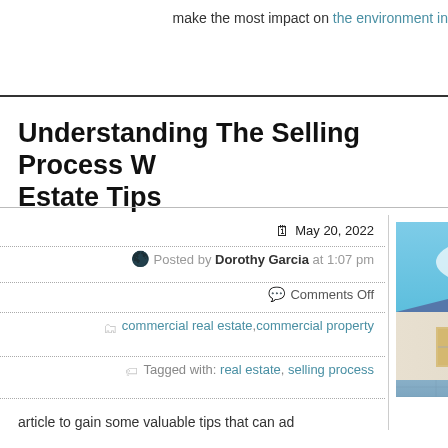make the most impact on the environment in
Understanding The Selling Process W… Estate Tips
May 20, 2022
Posted by Dorothy Garcia at 1:07 pm
Comments Off
commercial real estate,commercial property
Tagged with: real estate, selling process
[Figure (photo): Exterior photo of a modern single-storey house with blue tile driveway and blue sky background]
article to gain some valuable tips that can ad…